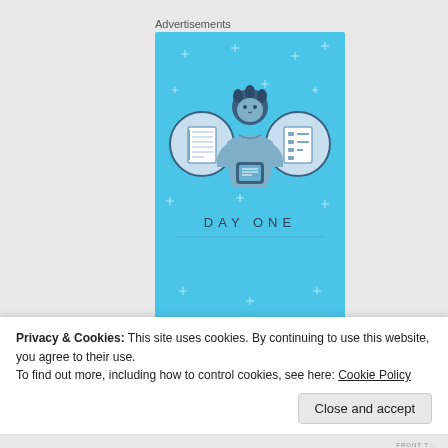Advertisements
[Figure (illustration): Day One app advertisement banner on blue background. Shows three circular icons (notebook, person with phone, checklist), the person figure in center holding a phone, text 'DAY ONE' in spaced caps, and 'The only' in italic serif at bottom.]
Privacy & Cookies: This site uses cookies. By continuing to use this website, you agree to their use.
To find out more, including how to control cookies, see here: Cookie Policy
Close and accept